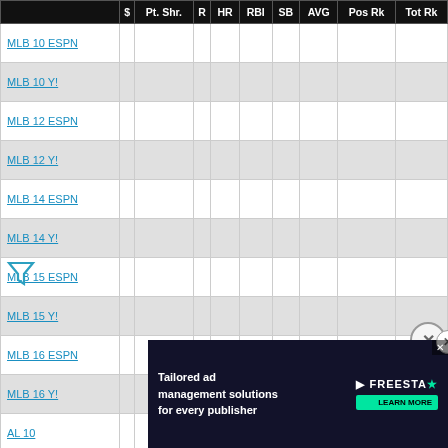|  | $ | Pt. Shr. | R | HR | RBI | SB | AVG | Pos Rk | Tot Rk |
| --- | --- | --- | --- | --- | --- | --- | --- | --- | --- |
| MLB 10 ESPN |  |  |  |  |  |  |  |  |  |
| MLB 10 Y! |  |  |  |  |  |  |  |  |  |
| MLB 12 ESPN |  |  |  |  |  |  |  |  |  |
| MLB 12 Y! |  |  |  |  |  |  |  |  |  |
| MLB 14 ESPN |  |  |  |  |  |  |  |  |  |
| MLB 14 Y! |  |  |  |  |  |  |  |  |  |
| MLB 15 ESPN |  |  |  |  |  |  |  |  |  |
| MLB 15 Y! |  |  |  |  |  |  |  |  |  |
| MLB 16 ESPN |  |  |  |  |  |  |  |  |  |
| MLB 16 Y! |  |  |  |  |  |  |  |  |  |
| AL 10 |  |  |  |  |  |  |  |  |  |
| AL 10 |  |  |  |  |  |  |  |  |  |
| AL 12 |  |  |  |  |  |  |  |  |  |